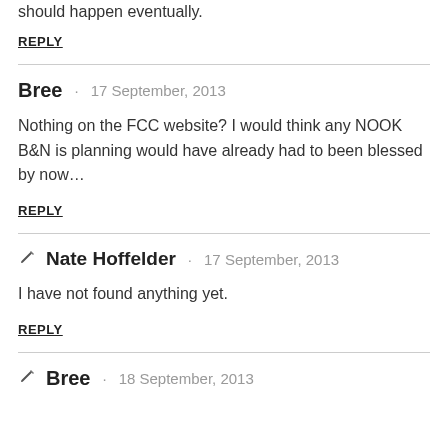should happen eventually.
REPLY
Bree · 17 September, 2013
Nothing on the FCC website? I would think any NOOK B&N is planning would have already had to been blessed by now…
REPLY
✏ Nate Hoffelder · 17 September, 2013
I have not found anything yet.
REPLY
✏ Bree · 18 September, 2013